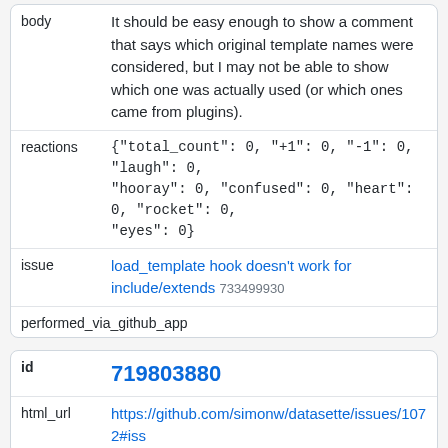| key | value |
| --- | --- |
| body | It should be easy enough to show a comment that says which original template names were considered, but I may not be able to show which one was actually used (or which ones came from plugins). |
| reactions | {"total_count": 0, "+1": 0, "-1": 0, "laugh": 0, "hooray": 0, "confused": 0, "heart": 0, "rocket": 0, "eyes": 0} |
| issue | load_template hook doesn't work for include/extends 733499930 |
| performed_via_github_app |  |
| key | value |
| --- | --- |
| id | 719803880 |
| html_url | https://github.com/simonw/datasette/issues/1072#iss |